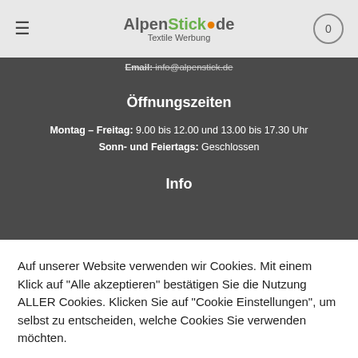AlpenStick.de Textile Werbung
Email: info@alpenstick.de
Öffnungszeiten
Montag – Freitag: 9.00 bis 12.00 und 13.00 bis 17.30 Uhr
Sonn- und Feiertags: Geschlossen
Info
Auf unserer Website verwenden wir Cookies. Mit einem Klick auf "Alle akzeptieren" bestätigen Sie die Nutzung ALLER Cookies. Klicken Sie auf "Cookie Einstellungen", um selbst zu entscheiden, welche Cookies Sie verwenden möchten.
Cookie Einstellungen
Alle akzeptieren